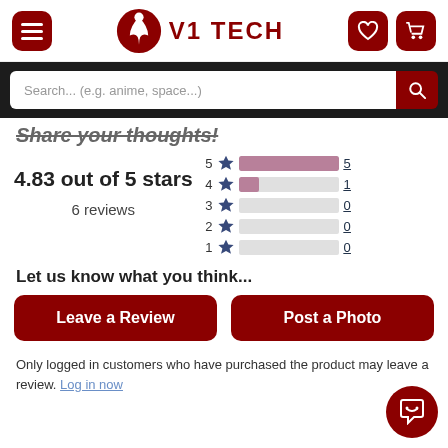V1 TECH
Search... (e.g. anime, space...)
Share your thoughts!
4.83 out of 5 stars
6 reviews
[Figure (bar-chart): Rating distribution]
Let us know what you think...
Leave a Review
Post a Photo
Only logged in customers who have purchased the product may leave a review. Log in now